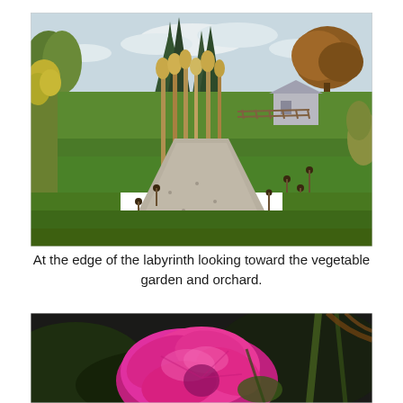[Figure (photo): Outdoor garden scene at the edge of a labyrinth, looking along a gravel path toward a vegetable garden and orchard. Tall dried corn stalks and goldenrod plants flank the path. Green lawn, trees including conifers, a small outbuilding, and a fence are visible in the background under a partly cloudy sky.]
At the edge of the labyrinth looking toward the vegetable garden and orchard.
[Figure (photo): Close-up photograph of a bright pink cosmos or similar flower in bloom, with dark blurred background and some green stems and brown dried plant material visible.]